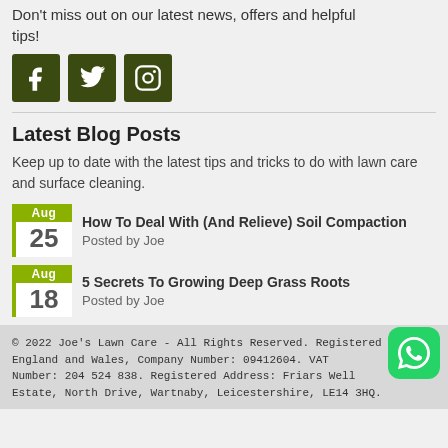Don't miss out on our latest news, offers and helpful tips!
[Figure (illustration): Three social media icons: Facebook, Twitter, Instagram, displayed as dark olive green square buttons with white icons.]
Latest Blog Posts
Keep up to date with the latest tips and tricks to do with lawn care and surface cleaning.
Aug 25 - How To Deal With (And Relieve) Soil Compaction - Posted by Joe
Aug 18 - 5 Secrets To Growing Deep Grass Roots - Posted by Joe
© 2022 Joe's Lawn Care - All Rights Reserved. Registered England and Wales, Company Number: 09412604. VAT Number: 204 524 838. Registered Address: Friars Well Estate, North Drive, Wartnaby, Leicestershire, LE14 3HQ.